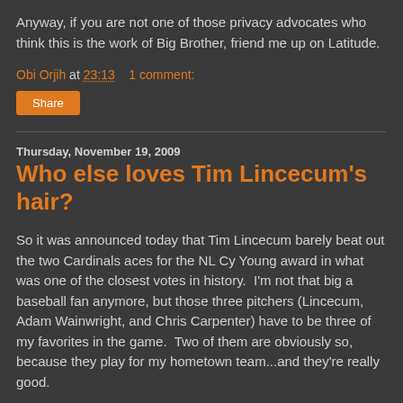Anyway, if you are not one of those privacy advocates who think this is the work of Big Brother, friend me up on Latitude.
Obi Orjih at 23:13    1 comment:
Share
Thursday, November 19, 2009
Who else loves Tim Lincecum's hair?
So it was announced today that Tim Lincecum barely beat out the two Cardinals aces for the NL Cy Young award in what was one of the closest votes in history.  I'm not that big a baseball fan anymore, but those three pitchers (Lincecum, Adam Wainwright, and Chris Carpenter) have to be three of my favorites in the game.  Two of them are obviously so, because they play for my hometown team...and they're really good.
Lincecum, though, has other interesting characteristics.  By